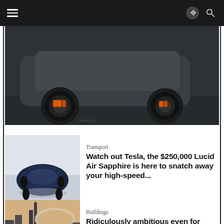Navigation bar with hamburger menu, share, and search icons
[Figure (photo): Partial view of a dark grey sports car showing wheel with orange brake calipers]
[Figure (photo): Dark blue Lucid Air Sapphire electric car viewed from above at an angle]
Transport
Watch out Tesla, the $250,000 Lucid Air Sapphire is here to snatch away your high-speed...
[Figure (photo): Futuristic circular ring structure over Dubai skyline at dusk]
Buildings
Ridiculously ambitious even for Dubai – Architects are planning a massive
550-meter tall ring around...